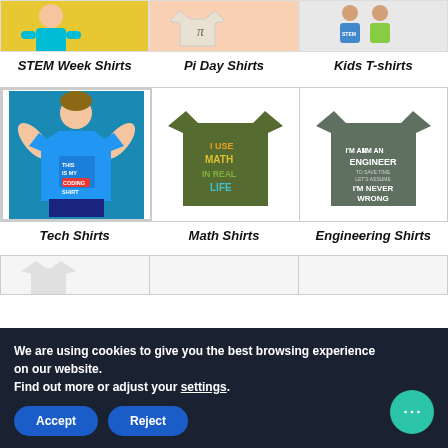[Figure (photo): Partial top row of product photos: STEM Week Shirts, Pi Day Shirts, Kids T-shirts]
STEM Week Shirts   Pi Day Shirts   Kids T-shirts
[Figure (photo): Three shirt product images: Tech Shirts (blue coding shirt), Math Shirts (olive I Use Math In Real Life shirt), Engineering Shirts (grey I'm An Engineer shirt)]
Tech Shirts   Math Shirts   Engineering Shirts
[Figure (photo): Partial bottom row of product images]
We are using cookies to give you the best browsing experience on our website. Find out more or adjust your settings.